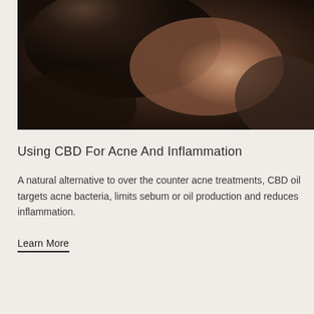[Figure (photo): Close-up photograph of a person's face/hair in dark warm tones, showing skin and hair details with dark brown and tan coloring]
Using CBD For Acne And Inflammation
A natural alternative to over the counter acne treatments, CBD oil targets acne bacteria, limits sebum or oil production and reduces inflammation.
Learn More